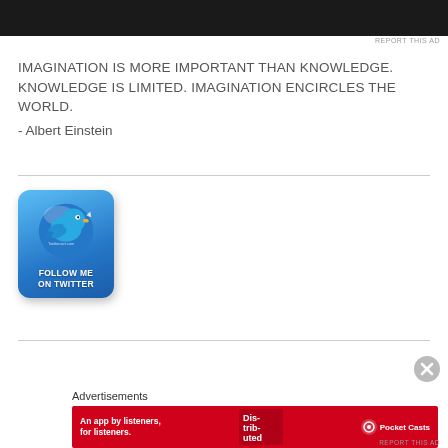[Figure (screenshot): Dark advertisement banner at top of page]
REPORT THIS AD
IMAGINATION IS MORE IMPORTANT THAN KNOWLEDGE. KNOWLEDGE IS LIMITED. IMAGINATION ENCIRCLES THE WORLD.
- Albert Einstein
[Figure (illustration): Follow Me on Twitter button with blue Twitter bird logo]
[Figure (screenshot): Close button (X circle) in lower right area]
Advertisements
[Figure (screenshot): Pocket Casts advertisement banner - red background, text: An app by listeners, for listeners. Pocket Casts logo on right.]